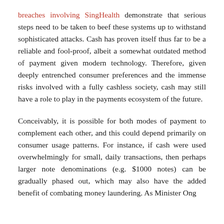breaches involving SingHealth demonstrate that serious steps need to be taken to beef these systems up to withstand sophisticated attacks. Cash has proven itself thus far to be a reliable and fool-proof, albeit a somewhat outdated method of payment given modern technology. Therefore, given deeply entrenched consumer preferences and the immense risks involved with a fully cashless society, cash may still have a role to play in the payments ecosystem of the future.
Conceivably, it is possible for both modes of payment to complement each other, and this could depend primarily on consumer usage patterns. For instance, if cash were used overwhelmingly for small, daily transactions, then perhaps larger note denominations (e.g. $1000 notes) can be gradually phased out, which may also have the added benefit of combating money laundering. As Minister Ong